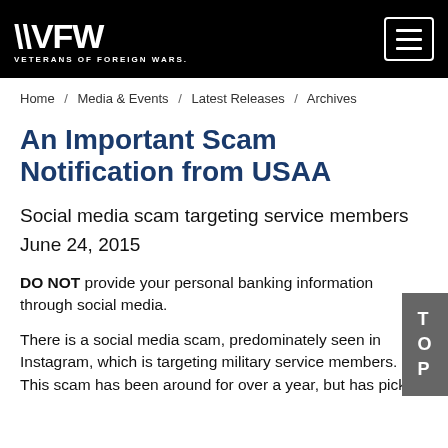VFW VETERANS OF FOREIGN WARS.
Home / Media & Events / Latest Releases / Archives
An Important Scam Notification from USAA
Social media scam targeting service members
June 24, 2015
DO NOT provide your personal banking information through social media.
There is a social media scam, predominately seen in Instagram, which is targeting military service members. This scam has been around for over a year, but has picked up more over the past few months, and has become a